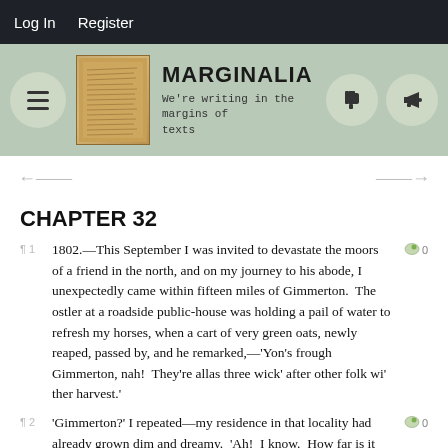Log In  Register
[Figure (screenshot): Marginalia website header banner with logo, site name, tagline, hamburger menu, and icon buttons]
CHAPTER 32
1802.—This September I was invited to devastate the moors of a friend in the north, and on my journey to his abode, I unexpectedly came within fifteen miles of Gimmerton.  The ostler at a roadside public-house was holding a pail of water to refresh my horses, when a cart of very green oats, newly reaped, passed by, and he remarked,—'Yon's frough Gimmerton, nah!  They're allas three wick' after other folk wi' ther harvest.'
'Gimmerton?' I repeated—my residence in that locality had already grown dim and dreamy.  'Ah!  I know.  How far is it